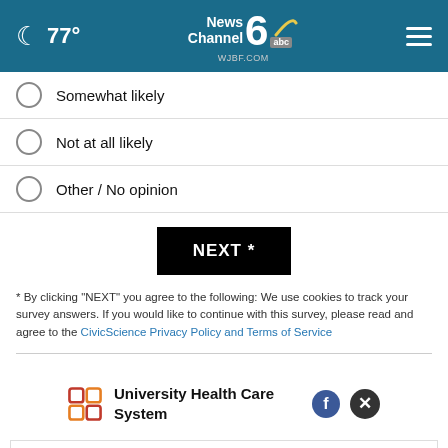77° News Channel 6 WJBF.COM abc
Somewhat likely
Not at all likely
Other / No opinion
NEXT *
* By clicking "NEXT" you agree to the following: We use cookies to track your survey answers. If you would like to continue with this survey, please read and agree to the CivicScience Privacy Policy and Terms of Service
[Figure (screenshot): University Health Care System advertisement with logo and close button]
[Figure (screenshot): Petco ad with in-store shopping and curbside pickup options]
expanded. Your care: exceptional.